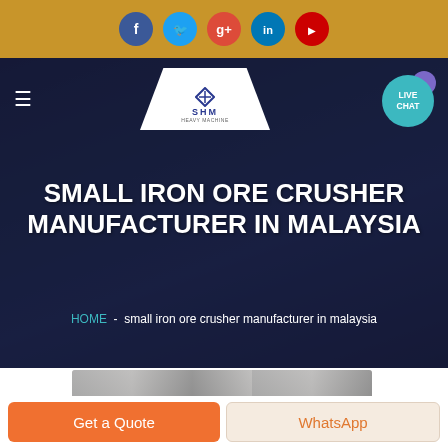[Figure (screenshot): Top navigation bar with gold/amber background containing social media icon circles: Facebook (blue), Twitter (cyan), Google+ (red), LinkedIn (blue), YouTube (red)]
[Figure (screenshot): Website header with dark navy background, hamburger menu icon on left, SHM logo in center white trapezoid shape, LIVE CHAT teal circle button on right]
SMALL IRON ORE CRUSHER MANUFACTURER IN MALAYSIA
HOME  -  small iron ore crusher manufacturer in malaysia
[Figure (photo): Partial view of industrial/manufacturing facility interior, bottom portion visible]
Get a Quote
WhatsApp